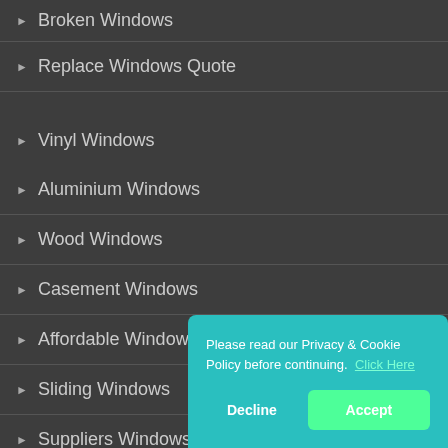▶ Broken Windows
▶ Replace Windows Quote
▶ Vinyl Windows
▶ Aluminium Windows
▶ Wood Windows
▶ Casement Windows
▶ Affordable Windows
▶ Sliding Windows
▶ Suppliers Windows
Please read our Privacy & Cookie Policy before continuing.  Click Here
Decline
Accept